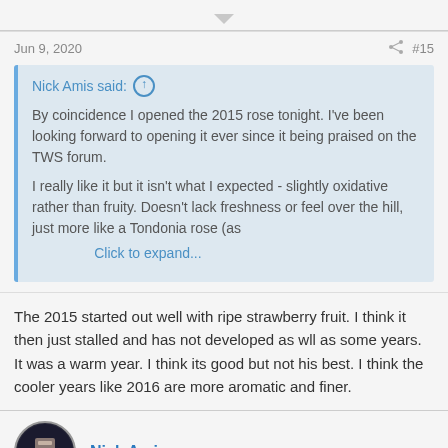Jun 9, 2020
#15
Nick Amis said:
By coincidence I opened the 2015 rose tonight. I've been looking forward to opening it ever since it being praised on the TWS forum.

I really like it but it isn't what I expected - slightly oxidative rather than fruity. Doesn't lack freshness or feel over the hill, just more like a Tondonia rose (as
Click to expand...
The 2015 started out well with ripe strawberry fruit. I think it then just stalled and has not developed as wll as some years. It was a warm year. I think its good but not his best. I think the cooler years like 2016 are more aromatic and finer.
Nick Amis